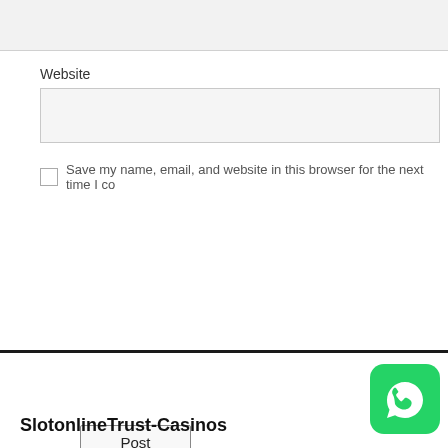[Figure (screenshot): Top input field (partially visible form field with light gray background)]
Website
[Figure (screenshot): Website input field with light gray background]
Save my name, email, and website in this browser for the next time I co
Post Comment
SlotonlineTrust-Casinos